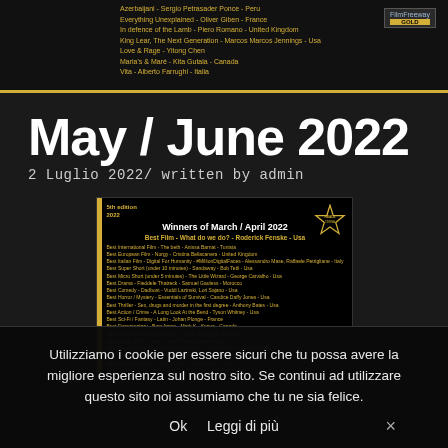[Figure (other): Top strip with gold text listing film festival winners, FilmFreeway Gold badge on right]
May / June 2022
2 Luglio 2022/ written by admin
[Figure (other): Winners of March / April 2022 - 5th edition 2022, list of award winners in gold text on black background with Reale festival laurel badge]
Utilizziamo i cookie per essere sicuri che tu possa avere la migliore esperienza sul nostro sito. Se continui ad utilizzare questo sito noi assumiamo che tu ne sia felice.
Ok   Leggi di più